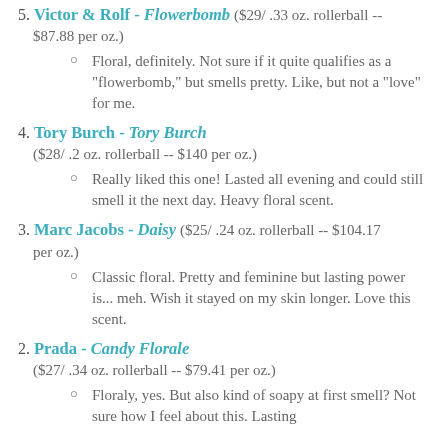5. Victor & Rolf - Flowerbomb ($29/ .33 oz. rollerball -- $87.88 per oz.)
Floral, definitely. Not sure if it quite qualifies as a "flowerbomb," but smells pretty. Like, but not a "love" for me.
4. Tory Burch - Tory Burch ($28/ .2 oz. rollerball -- $140 per oz.)
Really liked this one! Lasted all evening and could still smell it the next day. Heavy floral scent.
3. Marc Jacobs - Daisy ($25/ .24 oz. rollerball -- $104.17 per oz.)
Classic floral. Pretty and feminine but lasting power is... meh. Wish it stayed on my skin longer. Love this scent.
2. Prada - Candy Florale ($27/ .34 oz. rollerball -- $79.41 per oz.)
Floraly, yes. But also kind of soapy at first smell? Not sure how I feel about this. Lasting